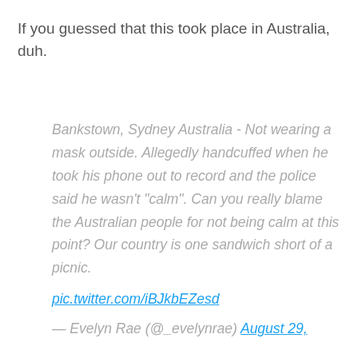If you guessed that this took place in Australia, duh.
Bankstown, Sydney Australia - Not wearing a mask outside. Allegedly handcuffed when he took his phone out to record and the police said he wasn't "calm". Can you really blame the Australian people for not being calm at this point? Our country is one sandwich short of a picnic. pic.twitter.com/iBJkbEZesd — Evelyn Rae (@_evelynrae) August 29,